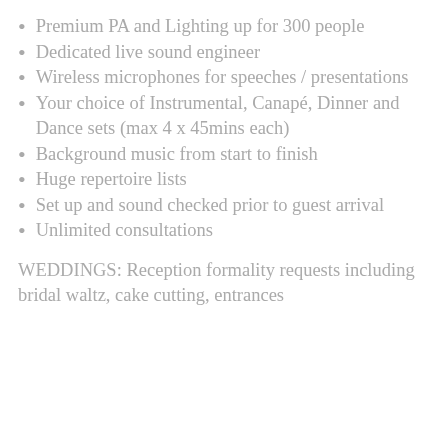Premium PA and Lighting up for 300 people
Dedicated live sound engineer
Wireless microphones for speeches / presentations
Your choice of Instrumental, Canapé, Dinner and Dance sets (max 4 x 45mins each)
Background music from start to finish
Huge repertoire lists
Set up and sound checked prior to guest arrival
Unlimited consultations
WEDDINGS: Reception formality requests including bridal waltz, cake cutting, entrances